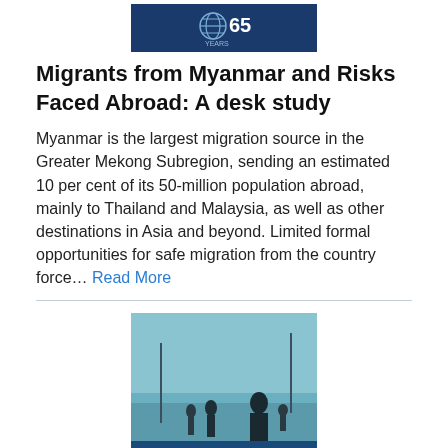[Figure (logo): IOM 65 years logo on dark blue background banner]
Migrants from Myanmar and Risks Faced Abroad: A desk study
Myanmar is the largest migration source in the Greater Mekong Subregion, sending an estimated 10 per cent of its 50-million population abroad, mainly to Thailand and Malaysia, as well as other destinations in Asia and beyond. Limited formal opportunities for safe migration from the country force… Read More
[Figure (photo): Book cover for 'Assessing the Risks' showing silhouettes of people walking on a bridge or road, with a teal/blue toned image]